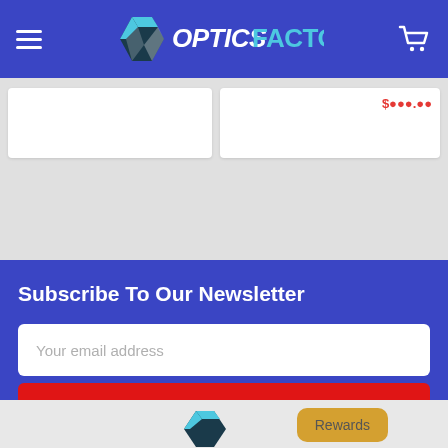OpticsFACTORY – navigation header with hamburger menu and cart icon
[Figure (screenshot): Two white product cards partially visible with a red price text on the right card]
Subscribe To Our Newsletter
Your email address
SUBSCRIBE
[Figure (logo): OpticsFACTORY logo partial at bottom with Rewards button]